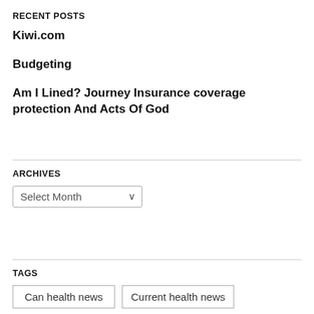RECENT POSTS
Kiwi.com
Budgeting
Am I Lined? Journey Insurance coverage protection And Acts Of God
ARCHIVES
Select Month
TAGS
Can health news
Current health news